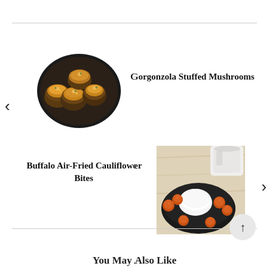[Figure (photo): Photo of Gorgonzola Stuffed Mushrooms in a dark pan, mushrooms topped with golden cheesy filling]
Gorgonzola Stuffed Mushrooms
[Figure (photo): Photo of Buffalo Air-Fried Cauliflower Bites in a dark bowl with white dipping sauce, served on a wooden board with a glass jar]
Buffalo Air-Fried Cauliflower Bites
You May Also Like